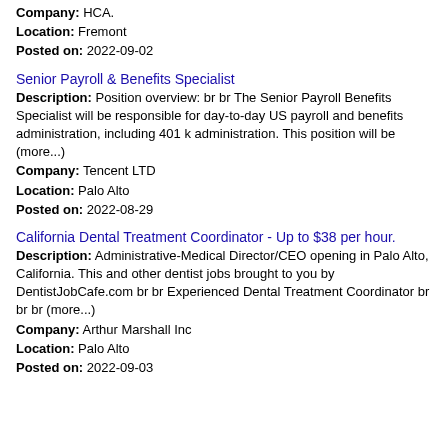Company: HCA.
Location: Fremont
Posted on: 2022-09-02
Senior Payroll & Benefits Specialist
Description: Position overview: br br The Senior Payroll Benefits Specialist will be responsible for day-to-day US payroll and benefits administration, including 401 k administration. This position will be (more...)
Company: Tencent LTD
Location: Palo Alto
Posted on: 2022-08-29
California Dental Treatment Coordinator - Up to $38 per hour.
Description: Administrative-Medical Director/CEO opening in Palo Alto, California. This and other dentist jobs brought to you by DentistJobCafe.com br br Experienced Dental Treatment Coordinator br br br (more...)
Company: Arthur Marshall Inc
Location: Palo Alto
Posted on: 2022-09-03